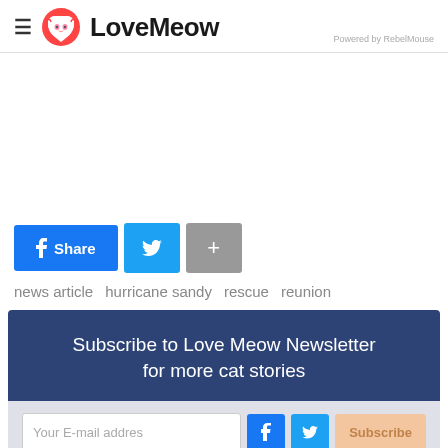LoveMeow — Powered by RebelMouse
[Figure (other): Advertisement or blank content area]
[Figure (other): Social share buttons: Facebook Share, Twitter, and Plus]
news article   hurricane sandy   rescue   reunion
Subscribe to Love Meow Newsletter for more cat stories
[Figure (other): Newsletter subscription form with email input, Facebook button, Twitter button, and Subscribe button]